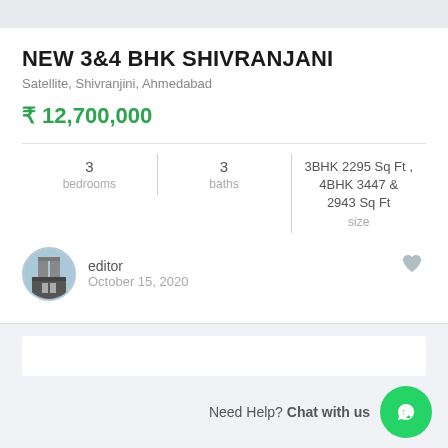NEW 3&4 BHK SHIVRANJANI
Satellite, Shivranjini, Ahmedabad
₹ 12,700,000
3 bedrooms | 3 baths | 3BHK 2295 Sq Ft , 4BHK 3447 & 2943 Sq Ft size
editor
October 15, 2020
Need Help? Chat with us
ADVANCED SEARCH